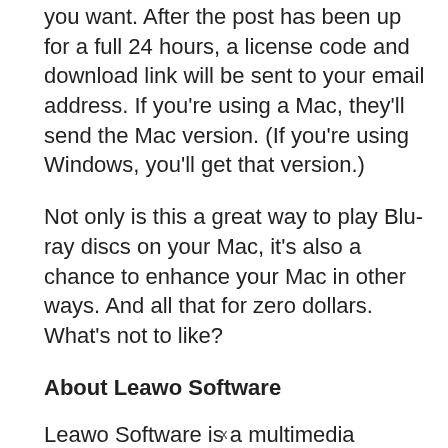you want. After the post has been up for a full 24 hours, a license code and download link will be sent to your email address. If you're using a Mac, they'll send the Mac version. (If you're using Windows, you'll get that version.)
Not only is this a great way to play Blu-ray discs on your Mac, it's also a chance to enhance your Mac in other ways. And all that for zero dollars. What's not to like?
About Leawo Software
Leawo Software is a multimedia software developer dedicated to providing practical and useful software products and services to worldwide
x